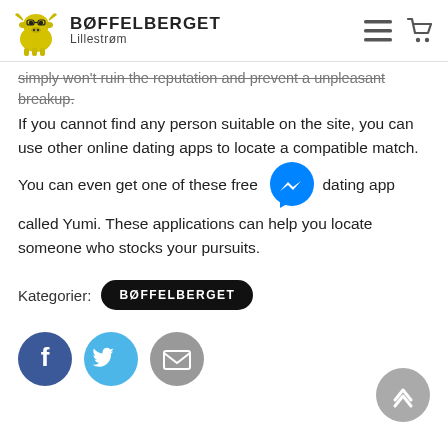BØFFELBERGET Lillestrøm
simply won't ruin the reputation and prevent a unpleasant breakup. If you cannot find any person suitable on the site, you can use other online dating apps to locate a compatible match. You can even get one of these free dating app called Yumi. These applications can help you locate someone who stocks your pursuits.
Kategorier: BØFFELBERGET
[Figure (illustration): Facebook, Twitter, and Email social share buttons as circular icons]